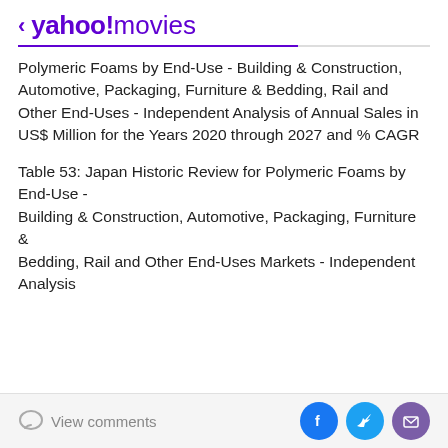< yahoo!movies
Polymeric Foams by End-Use - Building & Construction, Automotive, Packaging, Furniture & Bedding, Rail and Other End-Uses - Independent Analysis of Annual Sales in US$ Million for the Years 2020 through 2027 and % CAGR
Table 53: Japan Historic Review for Polymeric Foams by End-Use - Building & Construction, Automotive, Packaging, Furniture & Bedding, Rail and Other End-Uses Markets - Independent Analysis
View comments